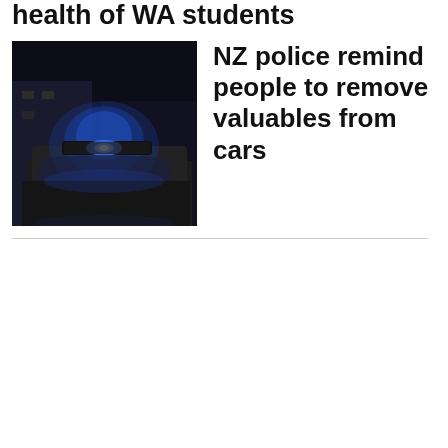health of WA students
[Figure (photo): Police car with blue flashing lights on top, photographed at night or low light]
NZ police remind people to remove valuables from cars